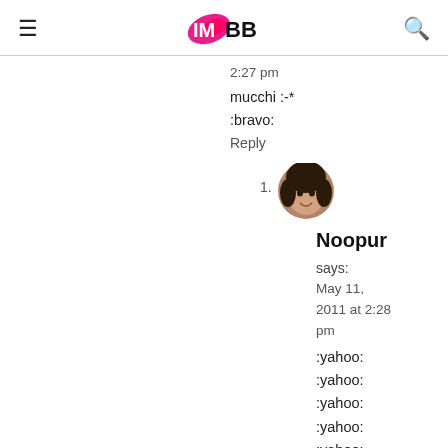IMBB (logo) with hamburger menu and search icon
2:27 pm
mucchi :-*
:bravo:
Reply
Noopur says: May 11, 2011 at 2:28 pm :yahoo: :yahoo: :yahoo: :yahoo: :yahoo: :yahoo: